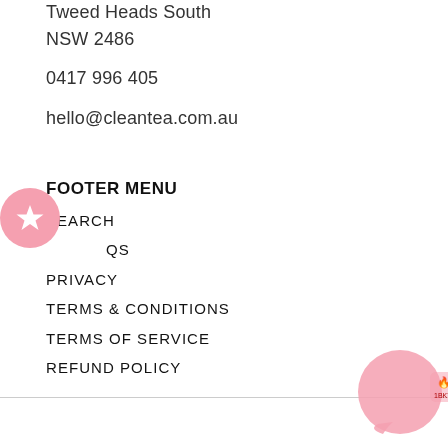Tweed Heads South
NSW 2486
0417 996 405
hello@cleantea.com.au
FOOTER MENU
SEARCH
QS
PRIVACY
TERMS & CONDITIONS
TERMS OF SERVICE
REFUND POLICY
[Figure (illustration): Pink circular star badge icon on the left side]
[Figure (illustration): Pink chat bubble / customer service widget in bottom right corner]